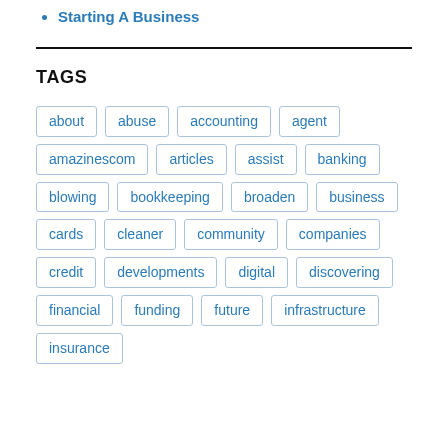Starting A Business
TAGS
about abuse accounting agent amazinescom articles assist banking blowing bookkeeping broaden business cards cleaner community companies credit developments digital discovering financial funding future infrastructure insurance